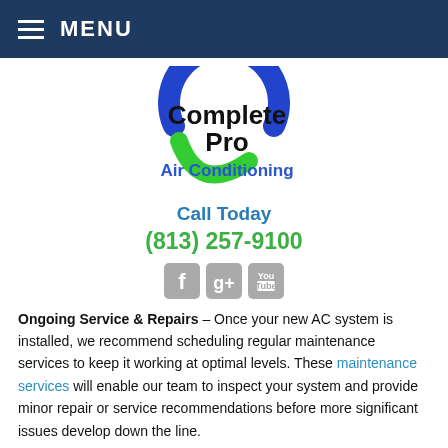MENU
[Figure (logo): Complete Pro Air Conditioning logo with circular blue and green swoosh design]
Call Today
(813) 257-9100
[Figure (other): Social media icons: Facebook, Google+, YouTube]
Ongoing Service & Repairs – Once your new AC system is installed, we recommend scheduling regular maintenance services to keep it working at optimal levels. These maintenance services will enable our team to inspect your system and provide minor repair or service recommendations before more significant issues develop down the line.
If you are considering a new AC system, speak to our team about air conditioning financing today. We are one of the most highly rated AC